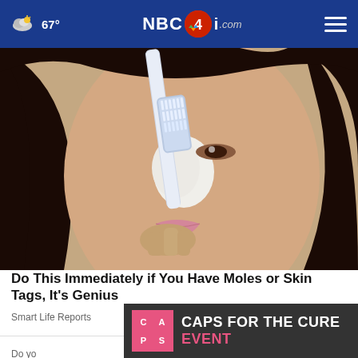67° NBC4i.com
[Figure (photo): Close-up of a woman with dark hair applying something white (toothpaste or cream) to her nose/face using a toothbrush]
Do This Immediately if You Have Moles or Skin Tags, It's Genius
Smart Life Reports
[Figure (infographic): Advertisement banner: CAPS FOR THE CURE EVENT with pink and white CAPS logo on dark background]